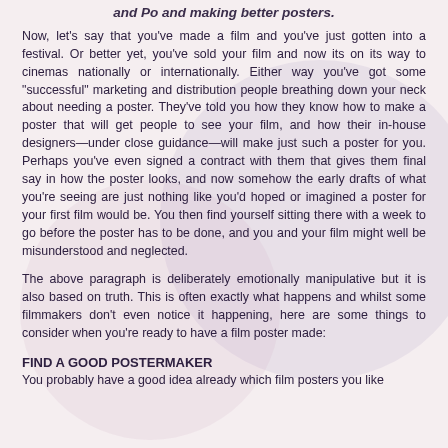and Po and making better posters.
Now, let's say that you've made a film and you've just gotten into a festival. Or better yet, you've sold your film and now its on its way to cinemas nationally or internationally. Either way you've got some "successful" marketing and distribution people breathing down your neck about needing a poster. They've told you how they know how to make a poster that will get people to see your film, and how their in-house designers—under close guidance—will make just such a poster for you. Perhaps you've even signed a contract with them that gives them final say in how the poster looks, and now somehow the early drafts of what you're seeing are just nothing like you'd hoped or imagined a poster for your first film would be. You then find yourself sitting there with a week to go before the poster has to be done, and you and your film might well be misunderstood and neglected.
The above paragraph is deliberately emotionally manipulative but it is also based on truth. This is often exactly what happens and whilst some filmmakers don't even notice it happening, here are some things to consider when you're ready to have a film poster made:
FIND A GOOD POSTERMAKER
You probably have a good idea already which film posters you like